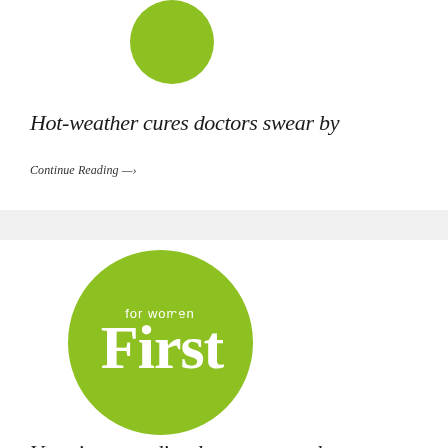[Figure (logo): Green circle logo partially cropped at top, bottom half visible]
Hot-weather cures doctors swear by
Continue Reading →
[Figure (logo): First for Women circular green logo with white text reading 'for women First']
Vacation remedies doctors swear by